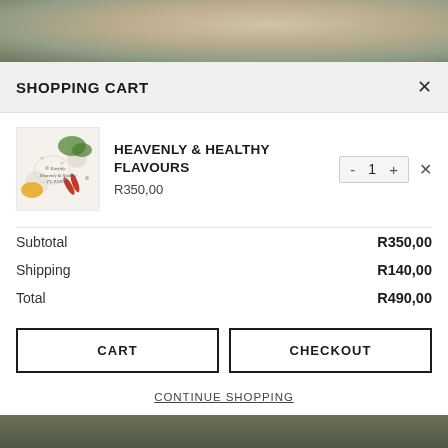[Figure (photo): Top decorative photo banner showing food/spices from above, warm earthy tones]
SHOPPING CART
[Figure (photo): Book cover for Heavenly & Healthy Flavours showing spices, herbs, chili peppers on white background]
HEAVENLY & HEALTHY FLAVOURS
R350,00
|  |  |
| --- | --- |
| Subtotal | R350,00 |
| Shipping | R140,00 |
| Total | R490,00 |
CART
CHECKOUT
CONTINUE SHOPPING
[Figure (photo): Bottom decorative photo banner showing dark green/brown food background]